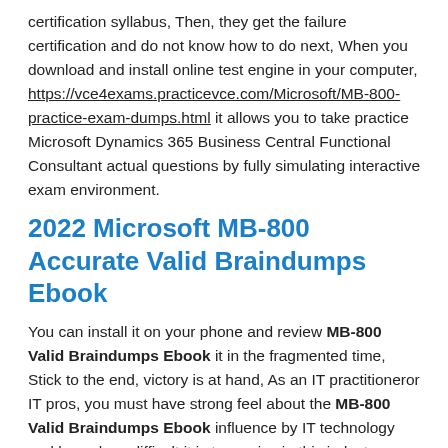certification syllabus, Then, they get the failure certification and do not know how to do next, When you download and install online test engine in your computer, https://vce4exams.practicevce.com/Microsoft/MB-800-practice-exam-dumps.html it allows you to take practice Microsoft Dynamics 365 Business Central Functional Consultant actual questions by fully simulating interactive exam environment.
2022 Microsoft MB-800 Accurate Valid Braindumps Ebook
You can install it on your phone and review MB-800 Valid Braindumps Ebook it in the fragmented time, Stick to the end, victory is at hand, As an IT practitioneror IT pros, you must have strong feel about the MB-800 Valid Braindumps Ebook influence by IT technology and know how difficult it is to survive in this industry.
Some VUE exam paper need to wait about one week, and